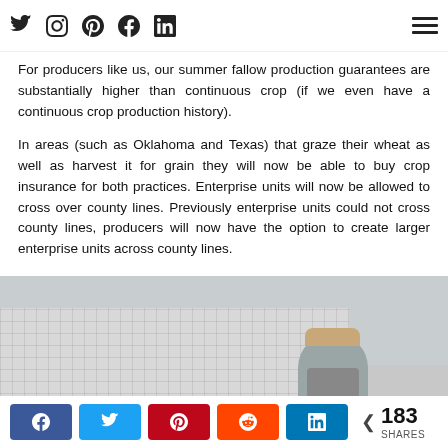Social media navigation icons and hamburger menu
For producers like us, our summer fallow production guarantees are substantially higher than continuous crop (if we even have a continuous crop production history).
In areas (such as Oklahoma and Texas) that graze their wheat as well as harvest it for grain they will now be able to buy crop insurance for both practices. Enterprise units will now be allowed to cross over county lines. Previously enterprise units could not cross county lines, producers will now have the option to create larger enterprise units across county lines.
[Figure (photo): A woman wearing a grey t-shirt and beige cap standing in front of a large white semi-trailer truck. The truck has a grid-patterned side wall and red reflector lights along the bottom.]
Share buttons: Facebook, Twitter, Pinterest, Reddit, LinkedIn. 183 SHARES